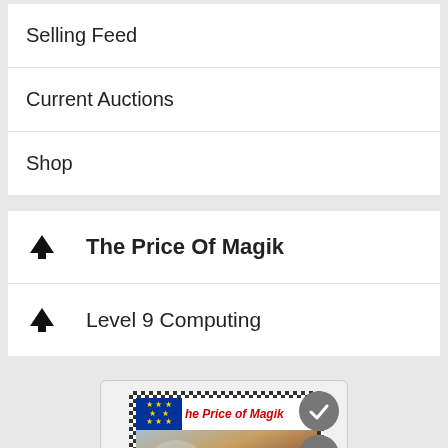Selling Feed
Current Auctions
Shop
The Price Of Magik
Level 9 Computing
[Figure (photo): Product listing image for 'The Price of Magik' game, showing the game cover with EU flag, red italic title text 'he Price of Magik', fantasy artwork with trees and figures, surrounded by a black-and-white checkered border. Three circular icon buttons (checkmark, eye, robot) are overlaid on the right side.]